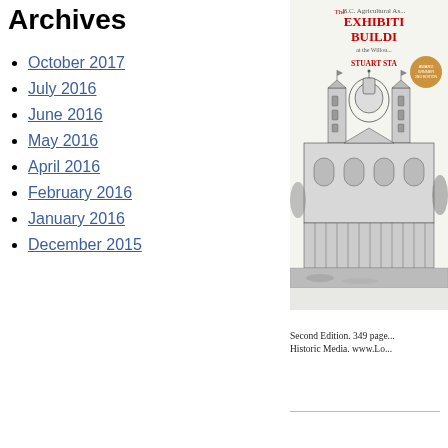Archives
October 2017
July 2016
June 2016
May 2016
April 2016
February 2016
January 2016
December 2015
[Figure (illustration): Book cover showing an architectural illustration of the B.C. Agricultural Association Exhibition Building at the Willows, by Stuart Sta[nley?]. Second Edition. Award Winner badge visible. Black and white engraving of a large Victorian building with a dome.]
Second Edition. 349 page... Historic Media. www.Lo...